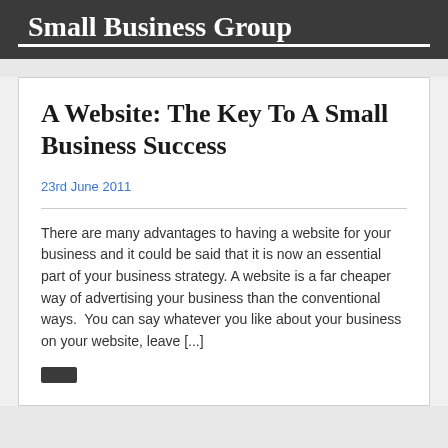Small Business Group
A Website: The Key To A Small Business Success
23rd June 2011
There are many advantages to having a website for your business and it could be said that it is now an essential part of your business strategy. A website is a far cheaper way of advertising your business than the conventional ways.  You can say whatever you like about your business on your website, leave [...]